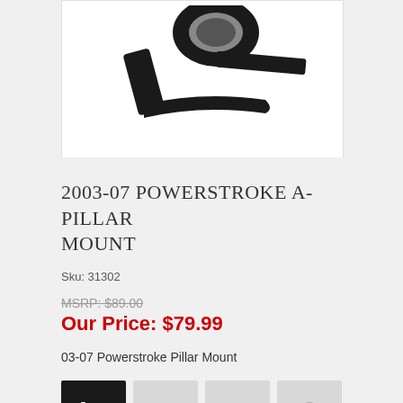[Figure (photo): Product photo showing a black A-pillar mount bracket/clamp for a Powerstroke truck, partially cropped at top]
2003-07 POWERSTROKE A-PILLAR MOUNT
Sku: 31302
MSRP: $89.00
Our Price: $79.99
03-07 Powerstroke Pillar Mount